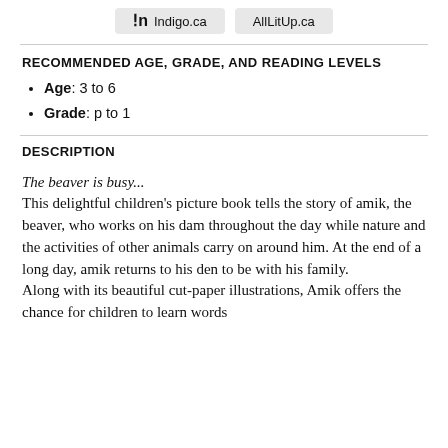[Figure (other): Two store buttons: Indigo.ca and AllLitUp.ca]
RECOMMENDED AGE, GRADE, AND READING LEVELS
Age: 3 to 6
Grade: p to 1
DESCRIPTION
The beaver is busy...
This delightful children's picture book tells the story of amik, the beaver, who works on his dam throughout the day while nature and the activities of other animals carry on around him. At the end of a long day, amik returns to his den to be with his family.
Along with its beautiful cut-paper illustrations, Amik offers the chance for children to learn words